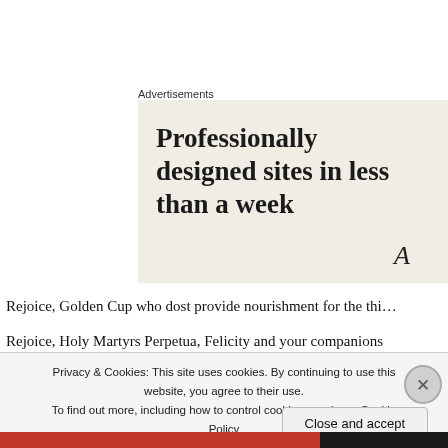Advertisements
[Figure (illustration): Advertisement banner with beige background showing text 'Professionally designed sites in less than a week' with a stylized letter A icon in bottom right corner.]
Rejoice, Golden Cup who dost provide nourishment for the thi…
Rejoice, Holy Martyrs Perpetua, Felicity and your companions
Rejoice…
Privacy & Cookies: This site uses cookies. By continuing to use this website, you agree to their use. To find out more, including how to control cookies, see here: Cookie Policy
Close and accept